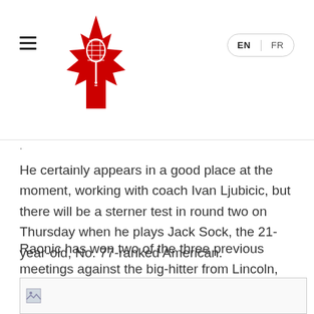Tennis Canada website header with logo (maple leaf with tennis racket) and EN/FR language switcher
He certainly appears in a good place at the moment, working with coach Ivan Ljubicic, but there will be a sterner test in round two on Thursday when he plays Jack Sock, the 21-year-old, No. 77-ranked American.
Raonic has won two of the three previous meetings against the big-hitter from Lincoln, Nebraska, now residing in Las Vegas.
[Figure (photo): Broken image placeholder at the bottom of the page]